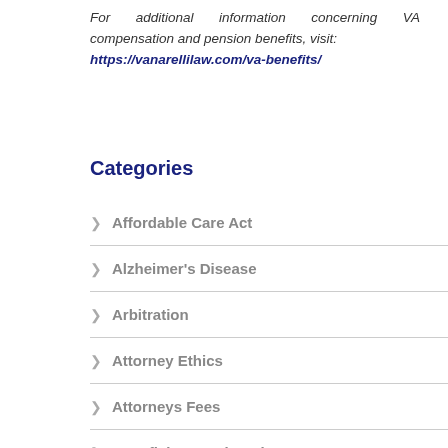For additional information concerning VA compensation and pension benefits, visit: https://vanarellilaw.com/va-benefits/
Categories
Affordable Care Act
Alzheimer's Disease
Arbitration
Attorney Ethics
Attorneys Fees
Beneficiary Designations
Blog Roundup and Highlights